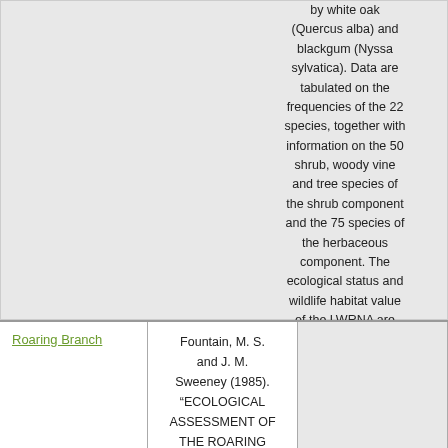by white oak (Quercus alba) and blackgum (Nyssa sylvatica). Data are tabulated on the frequencies of the 22 species, together with information on the 50 shrub, woody vine and tree species of the shrub component and the 75 species of the herbaceous component. The ecological status and wildlife habitat value of the LWRNA are described.
Roaring Branch
Fountain, M. S. and J. M. Sweeney (1985). "ECOLOGICAL ASSESSMENT OF THE ROARING BRANCH...